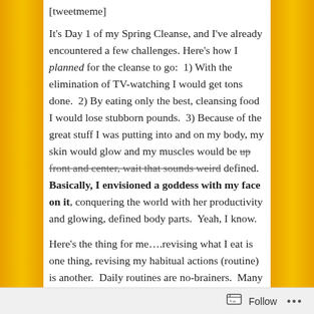[tweetmeme]
It's Day 1 of my Spring Cleanse, and I've already encountered a few challenges. Here's how I planned for the cleanse to go:  1) With the elimination of TV-watching I would get tons done.  2) By eating only the best, cleansing food I would lose stubborn pounds.  3) Because of the great stuff I was putting into and on my body, my skin would glow and my muscles would be [strikethrough: up front and center, wait that sounds weird] defined.  Basically, I envisioned a goddess with my face on it, conquering the world with her productivity and glowing, defined body parts.  Yeah, I know.
Here's the thing for me….revising what I eat is one thing, revising my habitual actions (routine) is another.  Daily routines are no-brainers.  Many of us wouldn't be able to function in the morning without them–imagine having to think hard about each action on the routine-rinse cycle…
Follow ...